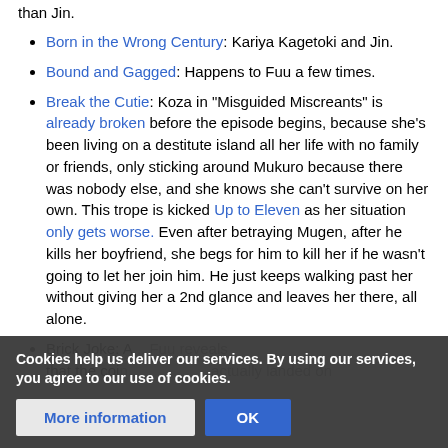than Jin.
Born in the Wrong Century: Kariya Kagetoki and Jin.
Bound and Gagged: Happens to Fuu a few times.
Break the Cutie: Koza in "Misguided Miscreants" is already broken before the episode begins, because she's been living on a destitute island all her life with no family or friends, only sticking around Mukuro because there was nobody else, and she knows she can't survive on her own. This trope is kicked Up to Eleven as her situation only gets worse. Even after betraying Mugen, after he kills her boyfriend, she begs for him to kill her if he wasn't going to let her join him. He just keeps walking past her without giving her a 2nd glance and leaves her there, all alone.
Brick Joke: A ... Fuu reveals that the coin ... actually landed on
Cookies help us deliver our services. By using our services, you agree to our use of cookies.